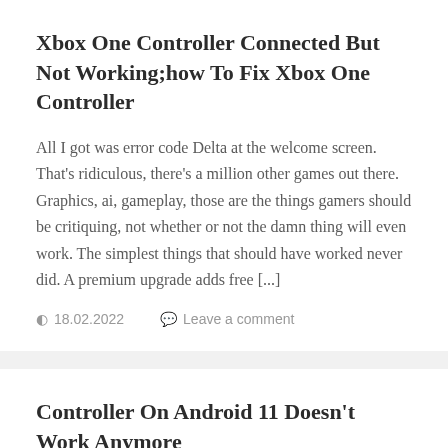Xbox One Controller Connected But Not Working;how To Fix Xbox One Controller
All I got was error code Delta at the welcome screen. That's ridiculous, there's a million other games out there. Graphics, ai, gameplay, those are the things gamers should be critiquing, not whether or not the damn thing will even work. The simplest things that should have worked never did. A premium upgrade adds free [...]
🕐 18.02.2022    💬 Leave a comment
Controller On Android 11 Doesn't Work Anymore
There are over 1,000 words to choose from, so you